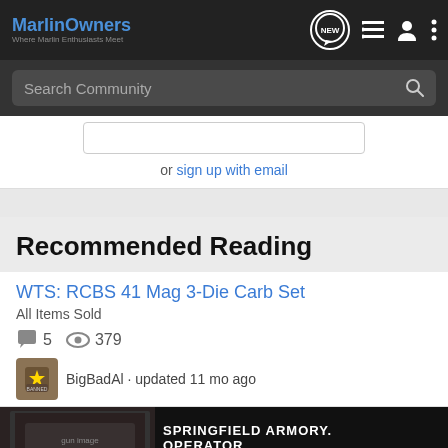MarlinOwners — Where Marlin Enthusiasts Meet
Search Community
or sign up with email
Recommended Reading
WTS: RCBS 41 Mag 3-Die Carb Set
All Items Sold
5 replies · 379 views
BigBadAl · updated 11 mo ago
[Figure (screenshot): Springfield Armory Operator advertisement banner]
.338 M